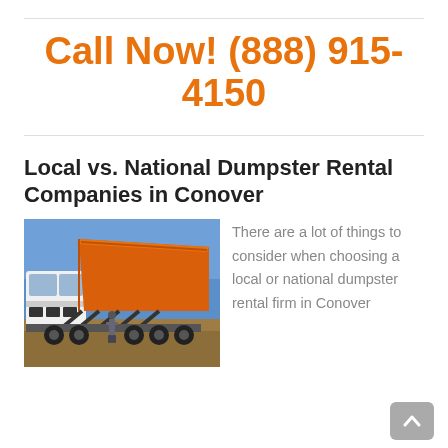Call Now! (888) 915-4150
Local vs. National Dumpster Rental Companies in Conover
[Figure (photo): A white semi-truck unloading a large orange roll-off dumpster container on a dirt lot, with a person standing nearby under a blue sky.]
There are a lot of things to consider when choosing a local or national dumpster rental firm in Conover